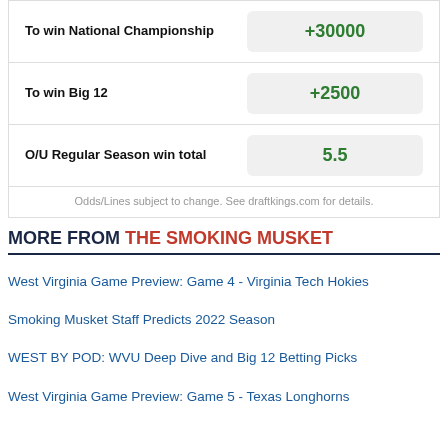| Bet | Odds |
| --- | --- |
| To win National Championship | +30000 |
| To win Big 12 | +2500 |
| O/U Regular Season win total | 5.5 |
Odds/Lines subject to change. See draftkings.com for details.
MORE FROM THE SMOKING MUSKET
West Virginia Game Preview: Game 4 - Virginia Tech Hokies
Smoking Musket Staff Predicts 2022 Season
WEST BY POD: WVU Deep Dive and Big 12 Betting Picks
West Virginia Game Preview: Game 5 - Texas Longhorns